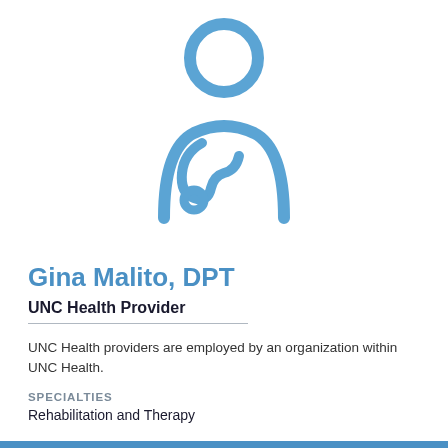[Figure (illustration): Blue line-art icon of a doctor/healthcare provider silhouette with a stethoscope]
Gina Malito, DPT
UNC Health Provider
UNC Health providers are employed by an organization within UNC Health.
SPECIALTIES
Rehabilitation and Therapy